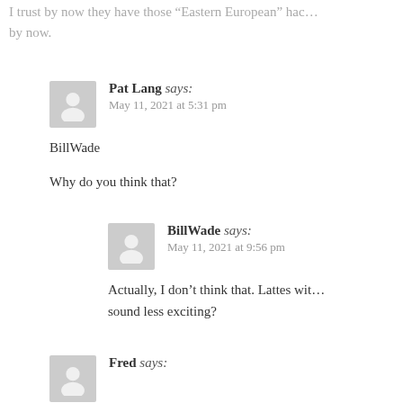I trust by now they have those “Eastern European” hac… by now.
Pat Lang says:
May 11, 2021 at 5:31 pm

BillWade

Why do you think that?
BillWade says:
May 11, 2021 at 9:56 pm

Actually, I don’t think that. Lattes wit… sound less exciting?
Fred says: